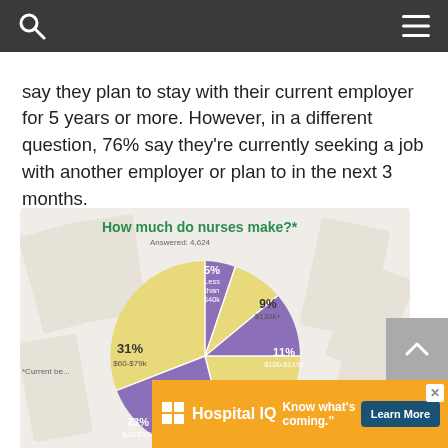say they plan to stay with their current employer for 5 years or more. However, in a different question, 76% say they're currently seeking a job with another employer or plan to in the next 3 months.
[Figure (pie-chart): How much do nurses make?*]
*Current be...